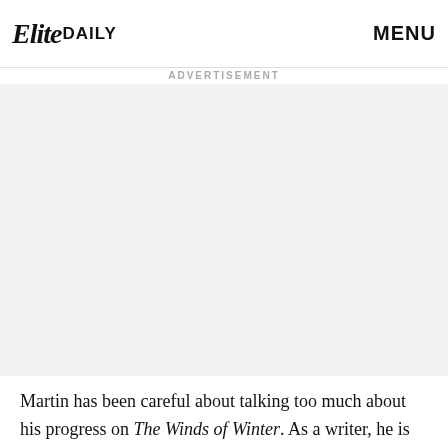Elite DAILY  MENU
ADVERTISEMENT
[Figure (other): Advertisement placeholder area, light gray background]
Martin has been careful about talking too much about his progress on The Winds of Winter. As a writer, he is notorious for failing to meet deadlines